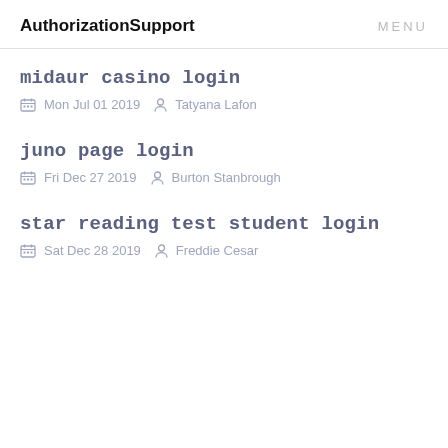AuthorizationSupport  MENU
midaur casino login
Mon Jul 01 2019  Tatyana Lafon
juno page login
Fri Dec 27 2019  Burton Stanbrough
star reading test student login
Sat Dec 28 2019  Freddie Cesar